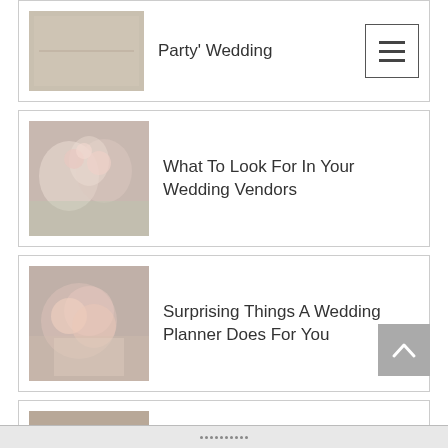[Figure (photo): Partial card with wedding table setting photo and menu hamburger icon button, title 'Party' Wedding']
Party' Wedding
[Figure (photo): Wedding card with floral centerpiece photo, title 'What To Look For In Your Wedding Vendors']
What To Look For In Your Wedding Vendors
[Figure (photo): Wedding card with pink floral bouquet and invitation photo, title 'Surprising Things A Wedding Planner Does For You']
Surprising Things A Wedding Planner Does For You
[Figure (photo): Wedding card with outdoor reception table photo, title 'Why You Should Consider A Small Micro Wedding']
Why You Should Consider A Small Micro Wedding
Real Weddings